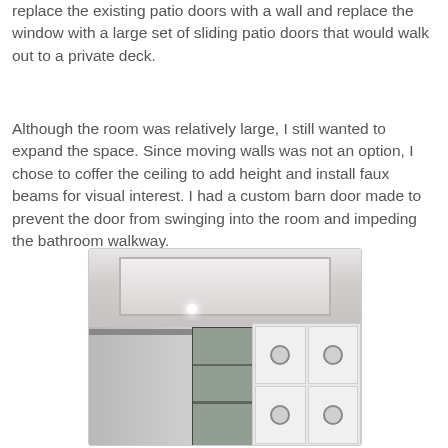replace the existing patio doors with a wall and replace the window with a large set of sliding patio doors that would walk out to a private deck.
Although the room was relatively large, I still wanted to expand the space. Since moving walls was not an option, I chose to coffer the ceiling to add height and install faux beams for visual interest. I had a custom barn door made to prevent the door from swinging into the room and impeding the bathroom walkway.
[Figure (photo): Interior photo showing a coffered ceiling with recessed lighting, a sliding barn door on a metal rail on the left, open shelving unit in the center, and white cabinet doors with round ring pulls on the right.]